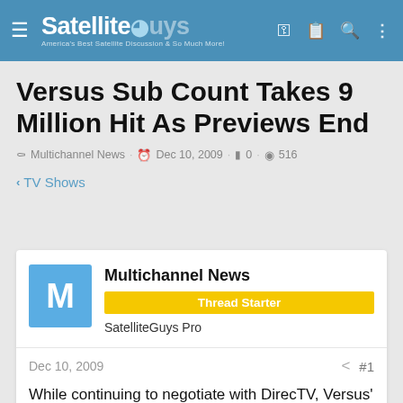SatelliteGuys — America's Best Satellite Discussion & So Much More!
Versus Sub Count Takes 9 Million Hit As Previews End
Multichannel News · Dec 10, 2009 · 0 · 516
< TV Shows
Multichannel News
Thread Starter
SatelliteGuys Pro
Dec 10, 2009
While continuing to negotiate with DirecTV, Versus' distribution base has taken a 9...